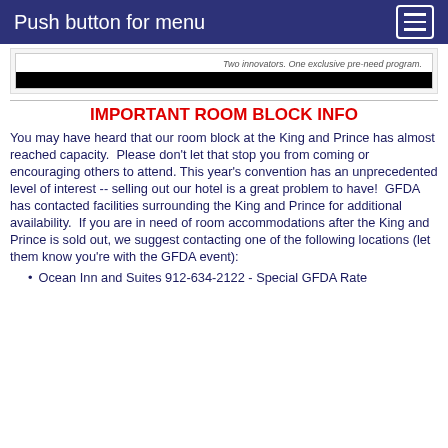Push button for menu
[Figure (screenshot): Partial screenshot showing tagline text 'Two innovators. One exclusive pre-need program.' with a black bar below]
IMPORTANT ROOM BLOCK INFO
You may have heard that our room block at the King and Prince has almost reached capacity.  Please don't let that stop you from coming or encouraging others to attend. This year's convention has an unprecedented level of interest -- selling out our hotel is a great problem to have!  GFDA has contacted facilities surrounding the King and Prince for additional availability.  If you are in need of room accommodations after the King and Prince is sold out, we suggest contacting one of the following locations (let them know you're with the GFDA event):
Ocean Inn and Suites 912-634-2122 - Special GFDA Rate